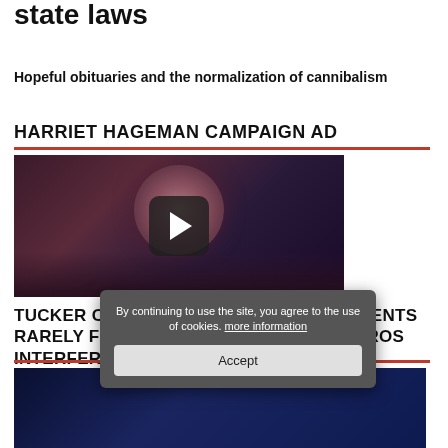state laws
Hopeful obituaries and the normalization of cannibalism
HARRIET HAGEMAN CAMPAIGN AD
[Figure (screenshot): Video thumbnail showing a woman's face with a play button overlay, dark background]
TUCKER CARLSON: WESTERN GOVERNMENTS RARELY FIGHT BACK WHEN GEORGE SOROS INTERFERES
[Figure (screenshot): Video thumbnail at bottom of page, dark blue background]
By continuing to use the site, you agree to the use of cookies. more information
Accept